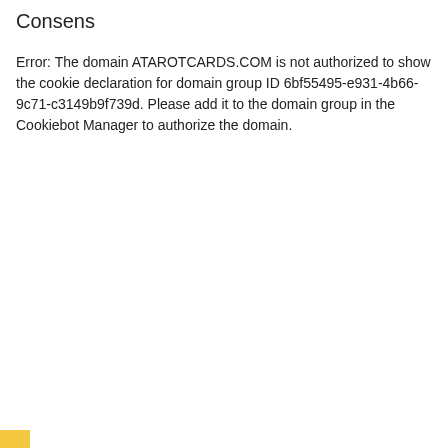Consens
Error: The domain ATAROTCARDS.COM is not authorized to show the cookie declaration for domain group ID 6bf55495-e931-4b66-9c71-c3149b9f739d. Please add it to the domain group in the Cookiebot Manager to authorize the domain.